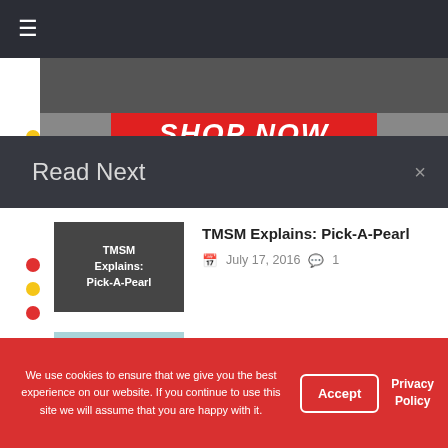☰ (hamburger menu icon)
[Figure (screenshot): Shop Now red banner button with partial background image]
Read Next
TMSM Explains: Pick-A-Pearl
July 17, 2016   1
Exciting V.I.PASSHOLDER Perks Added at Epcot
We use cookies to ensure that we give you the best experience on our website. If you continue to use this site we will assume that you are happy with it.
Accept
Privacy Policy